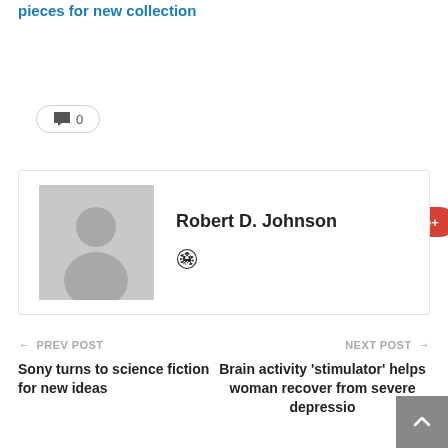pieces for new collection
💬 0
Share  Facebook  Twitter  Google+  +
Robert D. Johnson
← PREV POST   Sony turns to science fiction for new ideas
NEXT POST →   Brain activity 'stimulator' helps woman recover from severe depressio